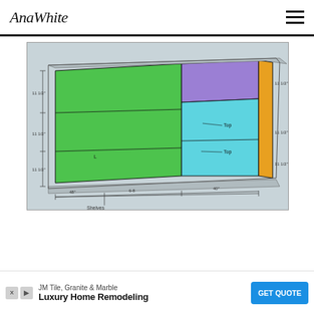AnaWhite
[Figure (engineering-diagram): A woodworking cut diagram showing a skewed/angled layout of colored wood boards on a gray background. Boards are colored green (left side, multiple panels), purple (top center), cyan/teal (center right, two panels labeled 'Top'), and orange (right edge). Dimension annotations show measurements including '11 1/2"' on left and right sides, and '40"' along the bottom. A label reads 'Shelves' at the bottom center.]
JM Tile, Granite & Marble
Luxury Home Remodeling
GET QUOTE